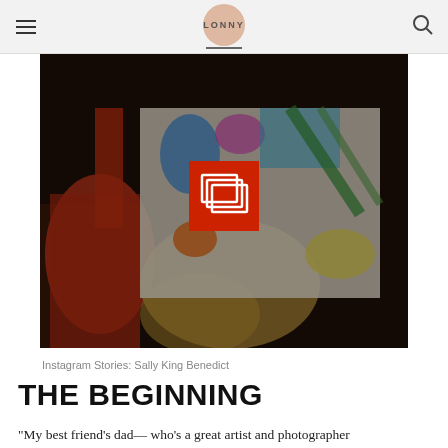LONNY
[Figure (photo): A child with blonde hair wearing a red top, reaching up toward a colorful painting/artwork. The image is darkened/moody. A red square icon with stacked rectangles (gallery/slideshow icon) is overlaid in the center.]
Instagram Stories: Sally King Benedict
THE BEGINNING
“My best friend’s dad— who’s a great artist and photographer